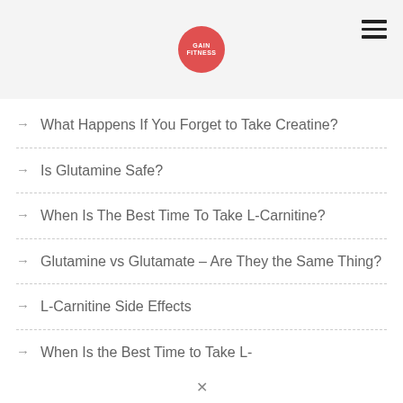GainFitness logo and hamburger menu
What Happens If You Forget to Take Creatine?
Is Glutamine Safe?
When Is The Best Time To Take L-Carnitine?
Glutamine vs Glutamate – Are They the Same Thing?
L-Carnitine Side Effects
When Is the Best Time to Take L-